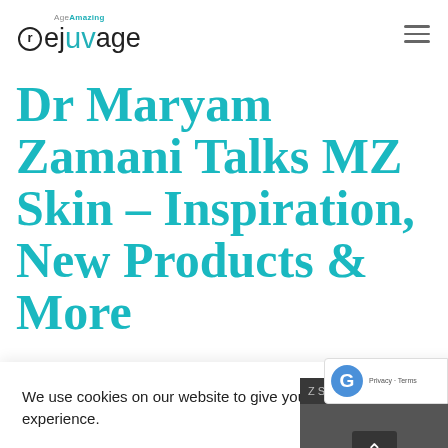Age Amazing rejuvage
Dr Maryam Zamani Talks MZ Skin – Inspiration, New Products & More
We use cookies on our website to give you the most relevant experience.
Cookie settings
ACCEPT
[Figure (screenshot): Thumbnail of a video or article about MZ Skin for Women, with navigation arrow and three-dot menu, partially visible on right side of cookie overlay]
[Figure (screenshot): reCAPTCHA badge with Google logo and Privacy - Terms text]